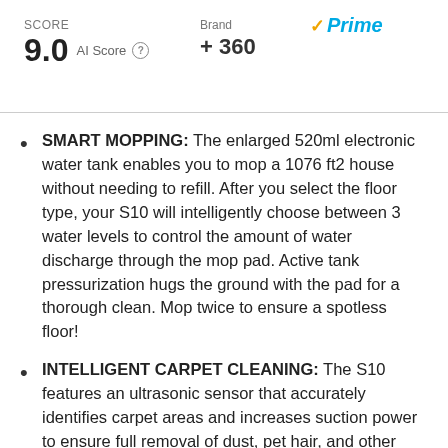SCORE
9.0  AI Score
Brand  + 360
✓Prime
SMART MOPPING: The enlarged 520ml electronic water tank enables you to mop a 1076 ft2 house without needing to refill. After you select the floor type, your S10 will intelligently choose between 3 water levels to control the amount of water discharge through the mop pad. Active tank pressurization hugs the ground with the pad for a thorough clean. Mop twice to ensure a spotless floor!
INTELLIGENT CARPET CLEANING: The S10 features an ultrasonic sensor that accurately identifies carpet areas and increases suction power to ensure full removal of dust, pet hair, and other debris caught in the fibers. For dirt-prone